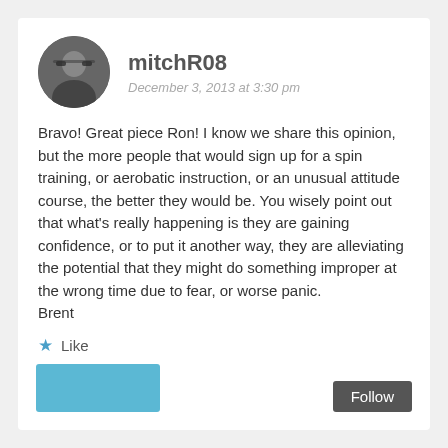[Figure (photo): Circular avatar photo of a man with grey hair and sunglasses, wearing a dark jacket]
mitchR08
December 3, 2013 at 3:30 pm
Bravo! Great piece Ron! I know we share this opinion, but the more people that would sign up for a spin training, or aerobatic instruction, or an unusual attitude course, the better they would be. You wisely point out that what's really happening is they are gaining confidence, or to put it another way, they are alleviating the potential that they might do something improper at the wrong time due to fear, or worse panic.
Brent
Like